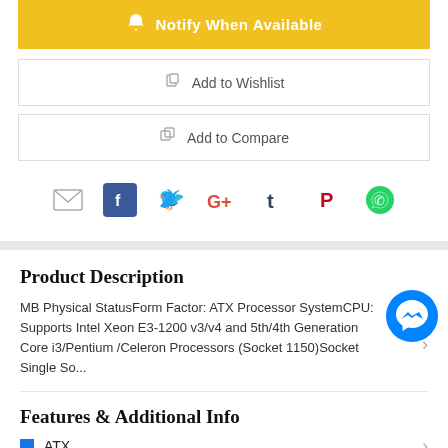[Figure (infographic): Yellow Notify When Available button with bell icon]
[Figure (infographic): Add to Wishlist button with heart icon]
[Figure (infographic): Add to Compare button with copy icon]
[Figure (infographic): Social sharing icons: email, Facebook, Twitter, Google+, Tumblr, Pinterest, WhatsApp]
Product Description
MB Physical StatusForm Factor: ATX Processor SystemCPU: Supports Intel Xeon E3-1200 v3/v4 and 5th/4th Generation Core i3/Pentium /Celeron Processors (Socket 1150)Socket Single So...
Features & Additional Info
ATX